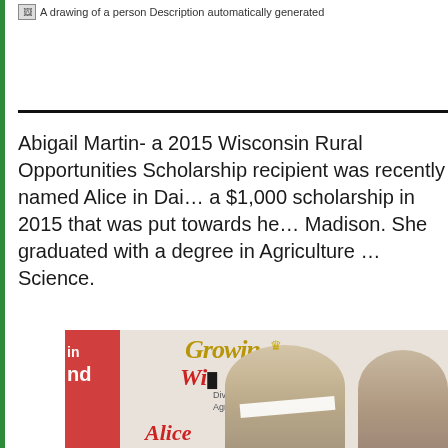[Figure (illustration): A drawing of a person icon with broken image indicator]
Abigail Martin- a 2015 Wisconsin Rural Opportunities Scholarship recipient was recently named Alice in Dairyland. She received a $1,000 scholarship in 2015 that was put towards her education at UW-Madison. She graduated with a degree in Agriculture and Applied Science.
[Figure (photo): Photo of Abigail Martin wearing a crown and sash at a Growing Wisconsin Division of Agriculture event, with another woman beside her]